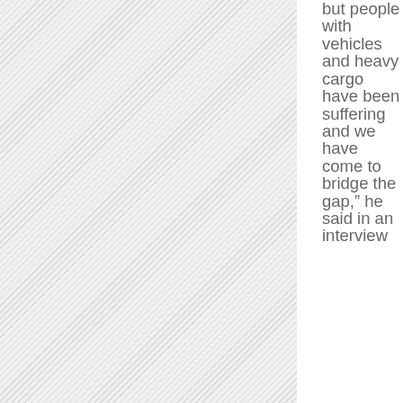[Figure (other): Hatched/diagonal-striped gray rectangle occupying the left portion of the page]
but people with vehicles and heavy cargo have been suffering and we have come to bridge the gap," he said in an interview